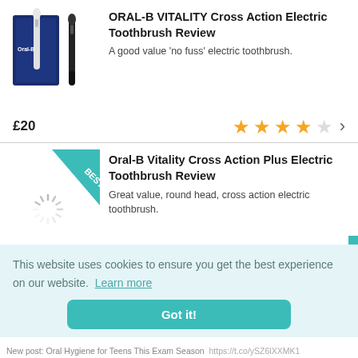[Figure (photo): Oral-B Vitality Cross Action Electric Toothbrush product image with packaging]
ORAL-B VITALITY Cross Action Electric Toothbrush Review
A good value 'no fuss' electric toothbrush.
£20
[Figure (other): 4 out of 5 stars rating with right arrow]
[Figure (photo): Oral-B Vitality Cross Action Plus Electric Toothbrush with BEST! badge and loading spinner]
Oral-B Vitality Cross Action Plus Electric Toothbrush Review
Great value, round head, cross action electric toothbrush.
£30
[Figure (other): 4.5 out of 5 stars rating with right arrow]
This website uses cookies to ensure you get the best experience on our website.  Learn more
Got it!
New post: Oral Hygiene for Teens This Exam Season  https://t.co/ySZ6lXXMK1